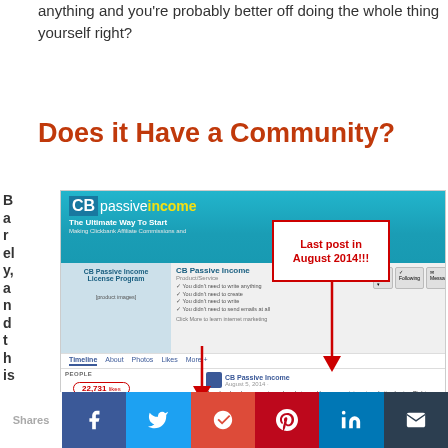anything and you're probably better off doing the whole thing yourself right?
Does it Have a Community?
Barely, and this is
[Figure (screenshot): Screenshot of CB Passive Income Facebook page showing 22,731 likes and a red box annotation reading 'Last post in August 2014!!!' with red arrows pointing to the date of the last post.]
Shares [Facebook] [Twitter] [Google+] [Pinterest] [LinkedIn] [Email]